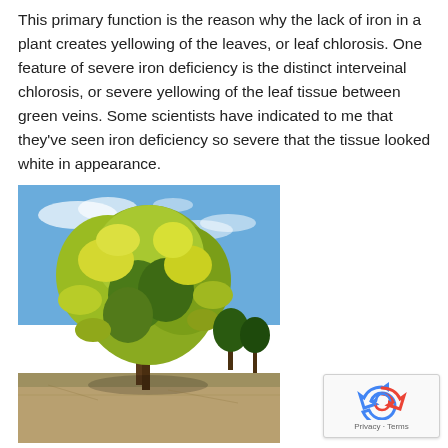This primary function is the reason why the lack of iron in a plant creates yellowing of the leaves, or leaf chlorosis. One feature of severe iron deficiency is the distinct interveinal chlorosis, or severe yellowing of the leaf tissue between green veins. Some scientists have indicated to me that they've seen iron deficiency so severe that the tissue looked white in appearance.
[Figure (photo): Outdoor photograph of a tree with yellowing and green leaves showing signs of iron chlorosis, set against a blue sky with scattered clouds and dry ground below.]